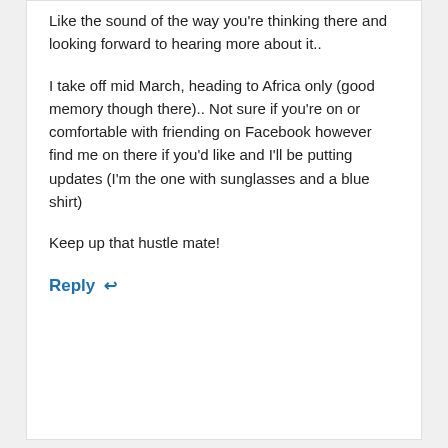Like the sound of the way you're thinking there and looking forward to hearing more about it..
I take off mid March, heading to Africa only (good memory though there).. Not sure if you're on or comfortable with friending on Facebook however find me on there if you'd like and I'll be putting updates (I'm the one with sunglasses and a blue shirt)
Keep up that hustle mate!
Reply ↩